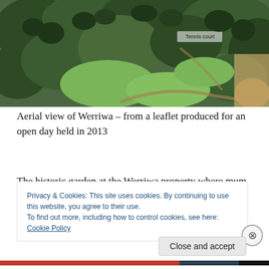[Figure (photo): Aerial view of Werriwa property showing dense green trees, lawn areas, and a tennis court labeled in the upper right portion of the image.]
Aerial view of Werriwa – from a leaflet produced for an open day held in 2013
The historic garden at the Werriwa property where mum and dad worked was considered to be one of the best in the area. Dating back to 1882, it is a traditional country garden of mature trees, expanses of lawn and drystone
Privacy & Cookies: This site uses cookies. By continuing to use this website, you agree to their use.
To find out more, including how to control cookies, see here: Cookie Policy